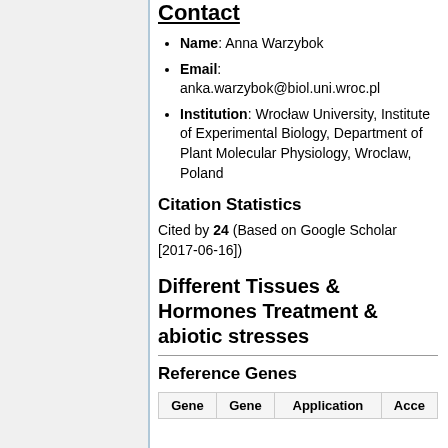Name: Anna Warzybok
Email: anka.warzybok@biol.uni.wroc.pl
Institution: Wrocław University, Institute of Experimental Biology, Department of Plant Molecular Physiology, Wroclaw, Poland
Citation Statistics
Cited by 24 (Based on Google Scholar [2017-06-16])
Different Tissues & Hormones Treatment & abiotic stresses
Reference Genes
| Gene | Gene | Application | Acce... |
| --- | --- | --- | --- |